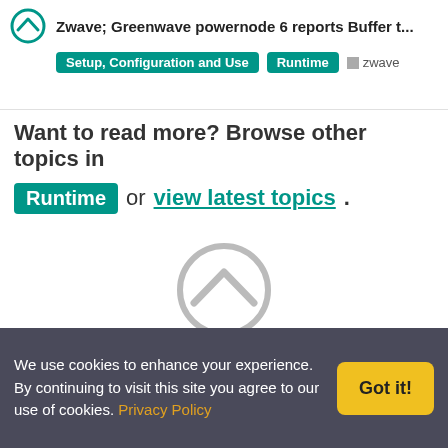Zwave; Greenwave powernode 6 reports Buffer t...
Setup, Configuration and Use  Runtime  zwave
Want to read more? Browse other topics in Runtime or view latest topics.
[Figure (logo): openHAB logo — large grey chevron inside circle]
Copyright © 2021 by the openHAB Community and the openHAB Foundation e.V.
Privacy policy | Imprint
[Figure (illustration): Social media icons: Twitter, email/newsletter, YouTube]
We use cookies to enhance your experience. By continuing to visit this site you agree to our use of cookies. Privacy Policy